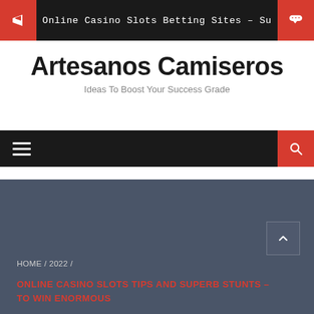Online Casino Slots Betting Sites – Su
Artesanos Camiseros
Ideas To Boost Your Success Grade
[Figure (infographic): Navigation bar with hamburger menu icon on left and search icon on right red button]
[Figure (infographic): Hero/breadcrumb section with dark slate background, scroll-up button, breadcrumb HOME / 2022, and article title in red caps]
HOME / 2022 / ONLINE CASINO SLOTS TIPS AND SUPERB STUNTS – TO WIN ENORMOUS